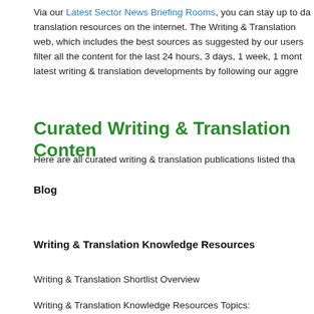Via our Latest Sector News Briefing Rooms, you can stay up to da translation resources on the internet. The Writing & Translation web, which includes the best sources as suggested by our users filter all the content for the last 24 hours, 3 days, 1 week, 1 mont latest writing & translation developments by following our aggre
Curated Writing & Translation Conten
Here are all curated writing & translation publications listed tha
Blog
Writing & Translation Knowledge Resources
Writing & Translation Shortlist Overview
Writing & Translation Knowledge Resources Topics: